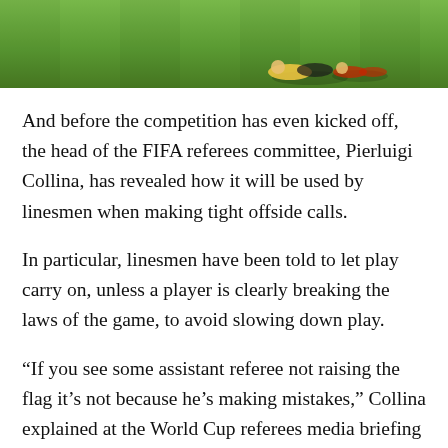[Figure (photo): Soccer/football scene on a grass pitch, players visible at the bottom of frame, green grass background]
And before the competition has even kicked off, the head of the FIFA referees committee, Pierluigi Collina, has revealed how it will be used by linesmen when making tight offside calls.
In particular, linesmen have been told to let play carry on, unless a player is clearly breaking the laws of the game, to avoid slowing down play.
“If you see some assistant referee not raising the flag it’s not because he’s making mistakes,” Collina explained at the World Cup referees media briefing on Tuesday. “It’s because he’s